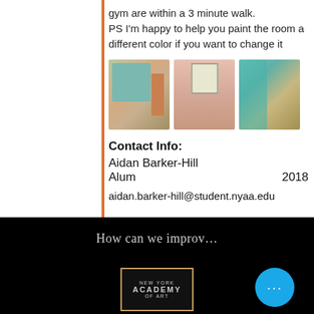gym are within a 3 minute walk.
PS I'm happy to help you paint the room a different color if you want to change it
[Figure (photo): Three photos of apartment rooms: kitchen with teal/blue cabinets, pink room with window and bookshelf, teal shelving unit with wood floors]
Contact Info:
Aidan Barker-Hill
Alum                      2018
aidan.barker-hill@student.nyaa.edu
How can we improv...
[Figure (logo): New York Academy of Art logo in gold-bordered box on black background]
[Figure (other): Blue circle button with three dots (ellipsis)]